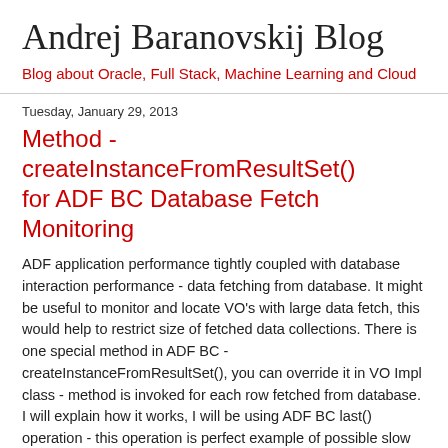Andrej Baranovskij Blog
Blog about Oracle, Full Stack, Machine Learning and Cloud
Tuesday, January 29, 2013
Method - createInstanceFromResultSet() for ADF BC Database Fetch Monitoring
ADF application performance tightly coupled with database interaction performance - data fetching from database. It might be useful to monitor and locate VO's with large data fetch, this would help to restrict size of fetched data collections. There is one special method in ADF BC - createInstanceFromResultSet(), you can override it in VO Impl class - method is invoked for each row fetched from database. I will explain how it works, I will be using ADF BC last() operation - this operation is perfect example of possible slow performance in ADF.